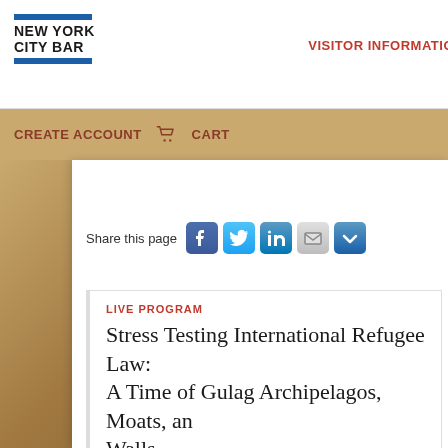[Figure (logo): New York City Bar association logo with blue horizontal bars and bold text]
VISITOR INFORMATION
CREATE ACCOUNT   CART
Share this page
LIVE PROGRAM
Stress Testing International Refugee Law:
A Time of Gulag Archipelagos, Moats, and Walls